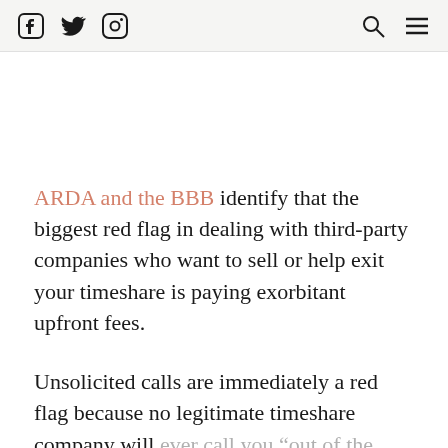[Social media icons: Facebook, Twitter, Instagram] [Search icon] [Menu icon]
ARDA and the BBB identify that the biggest red flag in dealing with third-party companies who want to sell or help exit your timeshare is paying exorbitant upfront fees.
Unsolicited calls are immediately a red flag because no legitimate timeshare company will ever call you “out of the blue.” It is illegal to reach out to you unsolicited. In other words,